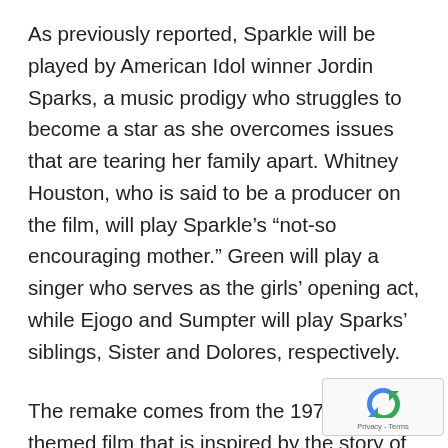As previously reported, Sparkle will be played by American Idol winner Jordin Sparks, a music prodigy who struggles to become a star as she overcomes issues that are tearing her family apart. Whitney Houston, who is said to be a producer on the film, will play Sparkle's “not-so encouraging mother.” Green will play a singer who serves as the girls’ opening act, while Ejogo and Sumpter will play Sparks’ siblings, Sister and Dolores, respectively.
The remake comes from the 1976 music-themed film that is inspired by the story of The Supremes. The original movie centers on three sisters who begin singing in their church choir in Harlem in the late
[Figure (logo): reCAPTCHA badge with logo and Privacy - Terms text]